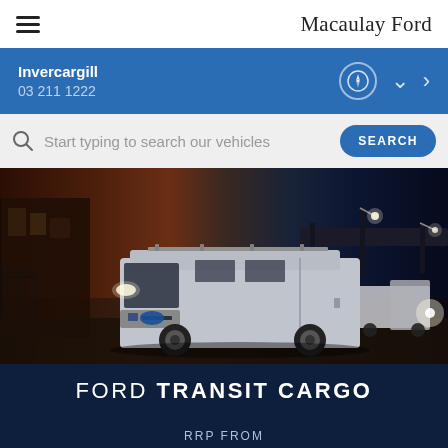Macaulay Ford
Invercargill
03 211 1222
Start typing to search our vehicles
[Figure (photo): Ford Transit Cargo van parked on a city street at dusk, with brick buildings and a highway overpass in the background. The van is silver/grey with roof rack.]
FORD TRANSIT CARGO
RRP FROM
$64,890